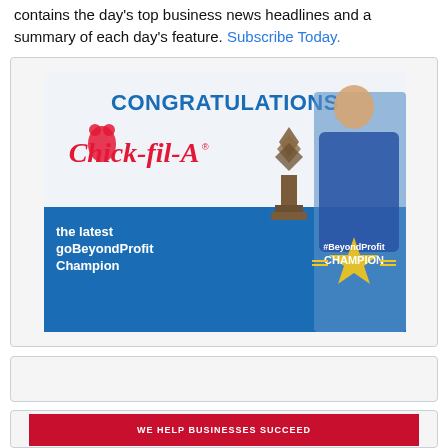contains the day's top business news headlines and a summary of each day's feature. Subscribe Today.
[Figure (photo): Advertisement for Chick-fil-A congratulating them as the latest goBeyondProfit Champion, featuring a man in a blue blazer holding a trophy, with Chick-fil-A logo and 'CONGRATULATIONS' text in blue at top, and 'the latest goBeyondProfit Champion' text at bottom left, with a gold star champion badge at bottom right.]
[Figure (other): Empty/blank advertisement box placeholder]
[Figure (other): Partially visible advertisement with red background showing text 'WE HELP BUSINESSES SUCCEED']